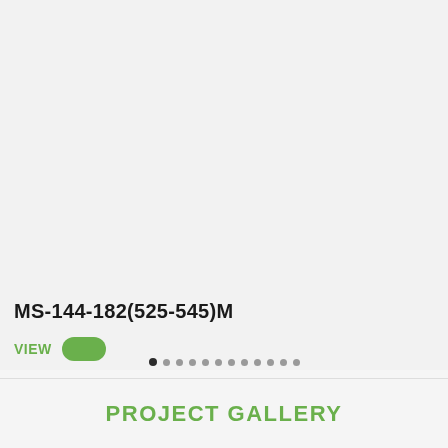MS-144-182(525-545)M
VIEW
PROJECT GALLERY